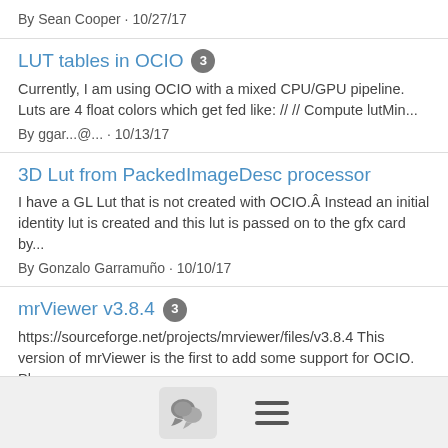By Sean Cooper · 10/27/17
LUT tables in OCIO 3
Currently, I am using OCIO with a mixed CPU/GPU pipeline. Luts are 4 float colors which get fed like: // // Compute lutMin...
By ggar...@... · 10/13/17
3D Lut from PackedImageDesc processor
I have a GL Lut that is not created with OCIO.Â Instead an initial identity lut is created and this lut is passed on to the gfx card by...
By Gonzalo Garramuño · 10/10/17
mrViewer v3.8.4 3
https://sourceforge.net/projects/mrviewer/files/v3.8.4 This version of mrViewer is the first to add some support for OCIO. Please...
By ggar...@... · 10/08/17
After Effects OCIO Plugin code age
Hi there, I'm taking a passing glance at colour management in After Effects and I found the OCIO plugin maintained as part of
[Figure (other): Bottom navigation bar with chat bubble icon button and hamburger menu icon]